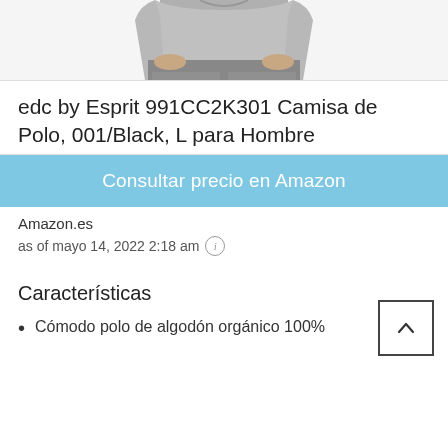[Figure (photo): Partial view of a male torso wearing grey pants/trousers, cropped at waist level]
edc by Esprit 991CC2K301 Camisa de Polo, 001/Black, L para Hombre
Consultar precio en Amazon
Amazon.es
as of mayo 14, 2022 2:18 am ℹ
Características
Cómodo polo de algodón orgánico 100%